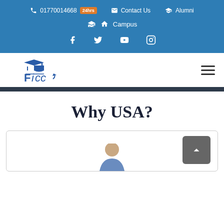01770014668  24hrs  Contact Us  Alumni
Campus
Facebook  Twitter  YouTube  Instagram
[Figure (logo): Ficc logo with graduation cap icon]
Why USA?
[Figure (photo): Partial photo of a person at the bottom of a card]